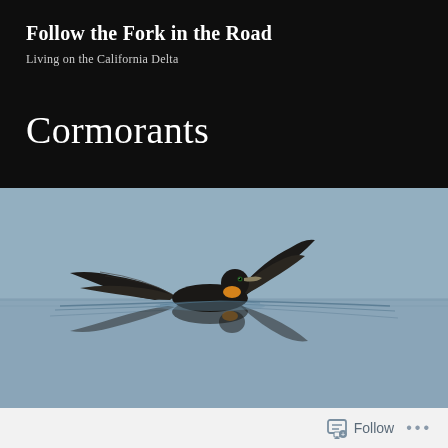Follow the Fork in the Road
Living on the California Delta
Cormorants
[Figure (photo): A cormorant bird with wings spread wide on calm water, with its reflection visible below. The bird has dark feathers and an orange/yellow throat pouch. The background is a muted grayish-blue sky and water.]
Follow ...